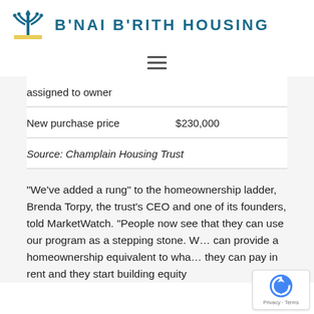[Figure (logo): B'Nai B'rith Housing logo with menorah icon and organization name]
assigned to owner
New purchase price    $230,000
Source: Champlain Housing Trust
"We've added a rung" to the homeownership ladder, Brenda Torpy, the trust's CEO and one of its founders, told MarketWatch. "People now see that they can use our program as a stepping stone. We can provide a homeownership equivalent to what they can pay in rent and they start building equity